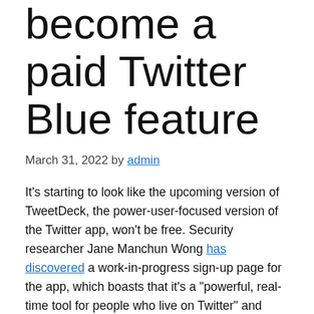become a paid Twitter Blue feature
March 31, 2022 by admin
It’s starting to look like the upcoming version of TweetDeck, the power-user-focused version of the Twitter app, won’t be free. Security researcher Jane Manchun Wong has discovered a work-in-progress sign-up page for the app, which boasts that it’s a “powerful, real-time tool for people who live on Twitter” and offers an ad-free experience.